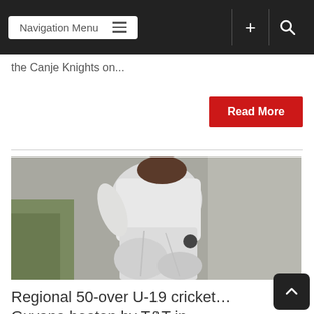Navigation Menu
the Canje Knights on...
Read More
[Figure (photo): A cricket player in white cricket uniform, close-up shot showing torso and legs in motion during play, blurred outdoor background.]
Regional 50-over U-19 cricket… Guyana beaten by T&T in penultimate round despite Anderson's responsible 42